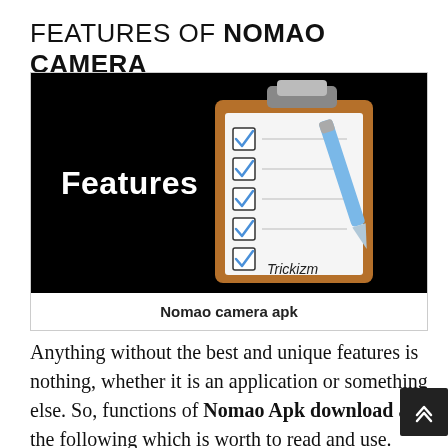FEATURES OF NOMAO CAMERA
[Figure (illustration): A clipboard with blue checkboxes checked, a pen resting on it, and the text 'Trickizm' on the clipboard. The word 'Features' appears in bold white text on the left side against a black background.]
Nomao camera apk
Anything without the best and unique features is nothing, whether it is an application or something else. So, functions of Nomao Apk download are the following which is worth to read and use. Here we go,